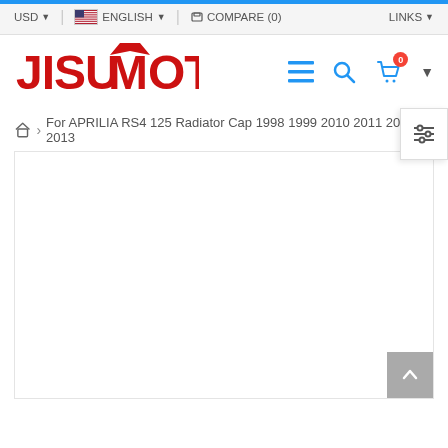USD | ENGLISH | COMPARE (0) | LINKS
[Figure (logo): JisuMoto logo in red stylized lettering]
For APRILIA RS4 125 Radiator Cap 1998 1999 2010 2011 2012 2013
[Figure (photo): Product image area (blank/loading)]